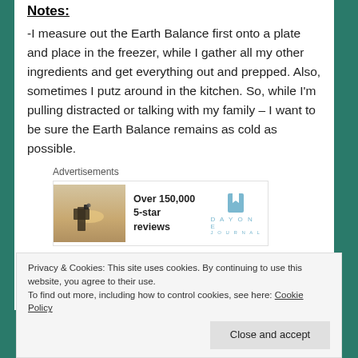Notes:
-I measure out the Earth Balance first onto a plate and place in the freezer, while I gather all my other ingredients and get everything out and prepped. Also, sometimes I putz around in the kitchen. So, while I'm pulling distracted or talking with my family – I want to be sure the Earth Balance remains as cold as possible.
[Figure (other): Advertisement banner showing a person photographing a sunset, with text 'Over 150,000 5-star reviews' and Day One Journal logo]
-If you are using a food processor, pulse together the dry ingredients first into the flour mixture. Then, pulse in the
Privacy & Cookies: This site uses cookies. By continuing to use this website, you agree to their use.
To find out more, including how to control cookies, see here: Cookie Policy